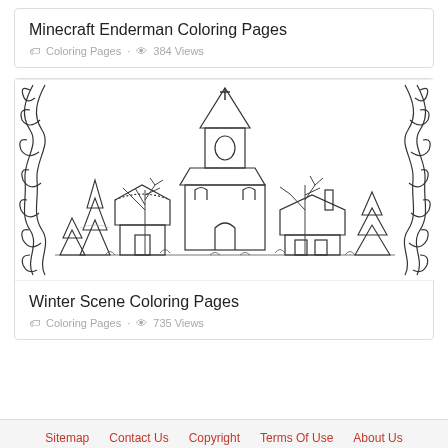Minecraft Enderman Coloring Pages
Coloring Pages · 384 Views
[Figure (illustration): Black and white coloring page illustration of a winter scene featuring a church with a steeple topped by a cross, snow-covered evergreen trees, bare trees, smaller houses, and an ornate decorative scroll border on both sides.]
Winter Scene Coloring Pages
Coloring Pages · 735 Views
Sitemap  Contact Us  Copyright  Terms Of Use  About Us